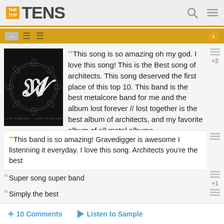THE TOP TENS
[Figure (illustration): Album cover art for Architects - Lost Forever // Lost Together, dark background with ornate letter N]
This song is so amazing oh my god. I love this song! This is the Best song of architects. This song deserved the first place of this top 10. This band is the best metalcore band for me and the album lost forever // lost together is the best album of architects, and my favorite album of all metal albums.
This band is so amazing! Gravedigger is awesome I listenning it everyday. I love this song. Architects you're the best
Super song super band
Simply the best
+ 10 Comments  ▶ Listen to Sample